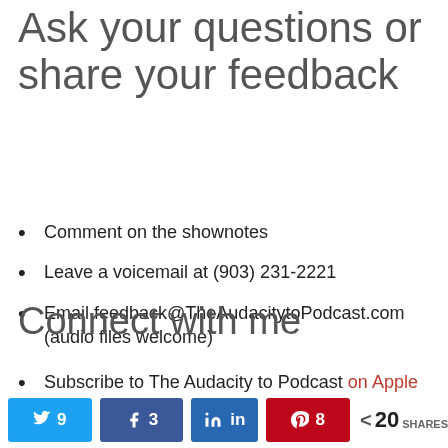Ask your questions or share your feedback
Comment on the shownotes
Leave a voicemail at (903) 231-2221
Email feedback@TheAudacitytoPodcast.com (audio files welcome)
Connect with me
Subscribe to The Audacity to Podcast on Apple Podcasts or on Android
[Figure (infographic): Social share buttons row: Twitter (9), Facebook (3), LinkedIn, Pinterest (8), total 20 SHARES]